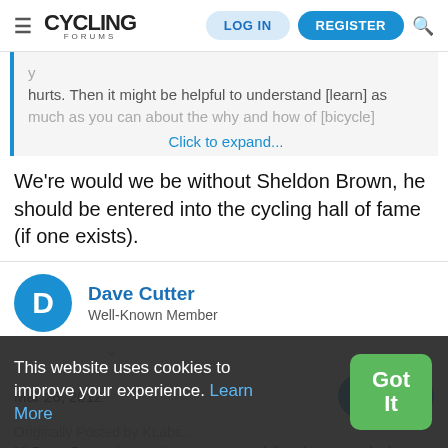Cycling Forums — LOG IN | REGISTER
hurts. Then it might be helpful to understand [learn] as much as you can about the why and how of [bicycle] Click to expand...
We're would we be without Sheldon Brown, he should be entered into the cycling hall of fame (if one exists).
Dave Cutter — Well-Known Member
Mar 26, 2012
Originally Posted by KLabc...
Hi Dave Cutter, interesting ... so motor bikes (motor cycles) have saddles not seats. They certainly have saddle bags
This website uses cookies to improve your experience. Learn More — Got It